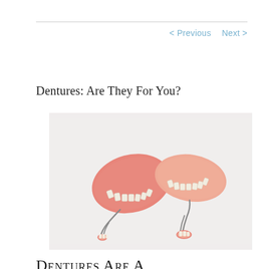< Previous   Next >
Dentures: Are They For You?
[Figure (photo): Two full denture sets and two partial denture bridges with metal clasps, photographed on a light gray/white background.]
Dentures Are A Re...